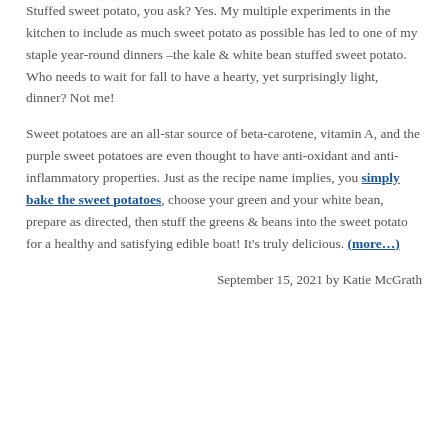Stuffed sweet potato, you ask? Yes. My multiple experiments in the kitchen to include as much sweet potato as possible has led to one of my staple year-round dinners –the kale & white bean stuffed sweet potato. Who needs to wait for fall to have a hearty, yet surprisingly light, dinner? Not me!
Sweet potatoes are an all-star source of beta-carotene, vitamin A, and the purple sweet potatoes are even thought to have anti-oxidant and anti-inflammatory properties. Just as the recipe name implies, you simply bake the sweet potatoes, choose your green and your white bean, prepare as directed, then stuff the greens & beans into the sweet potato for a healthy and satisfying edible boat! It's truly delicious. (more…)
September 15, 2021 by Katie McGrath